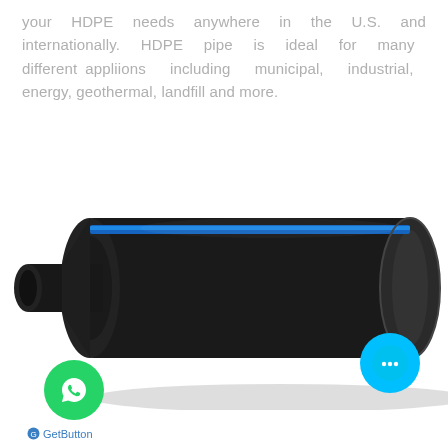your HDPE needs anywhere in the U.S. and internationally. HDPE pipe is ideal for many different appliions including municipal, industrial, energy, geothermal, landfill and more.
[Figure (photo): Photograph of a black HDPE pipe with a blue stripe along its length, shown at an angle with a smaller pipe segment visible at the left end. A shadow is cast beneath the pipe.]
[Figure (logo): Green circular WhatsApp button icon at bottom-left]
[Figure (logo): Cyan circular chat bubble button at bottom-right]
GetButton